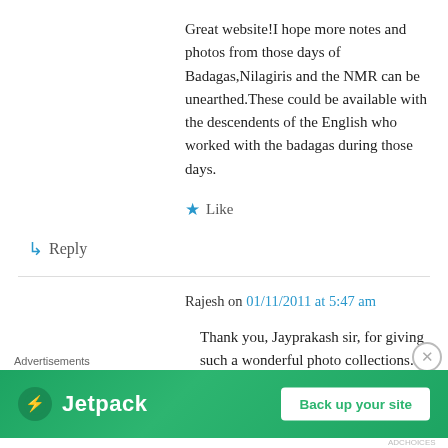Great website!I hope more notes and photos from those days of Badagas,Nilagiris and the NMR can be unearthed.These could be available with the descendents of the English who worked with the badagas during those days.
★ Like
↳ Reply
Rajesh on 01/11/2011 at 5:47 am
Thank you, Jayprakash sir, for giving such a wonderful photo collections.
[Figure (infographic): Jetpack advertisement banner with green background showing Jetpack logo and 'Back up your site' button. Advertisements label above.]